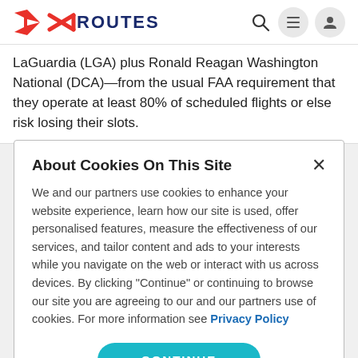ROUTES
LaGuardia (LGA) plus Ronald Reagan Washington National (DCA)—from the usual FAA requirement that they operate at least 80% of scheduled flights or else risk losing their slots.
About Cookies On This Site
We and our partners use cookies to enhance your website experience, learn how our site is used, offer personalised features, measure the effectiveness of our services, and tailor content and ads to your interests while you navigate on the web or interact with us across devices. By clicking "Continue" or continuing to browse our site you are agreeing to our and our partners use of cookies. For more information see Privacy Policy
CONTINUE